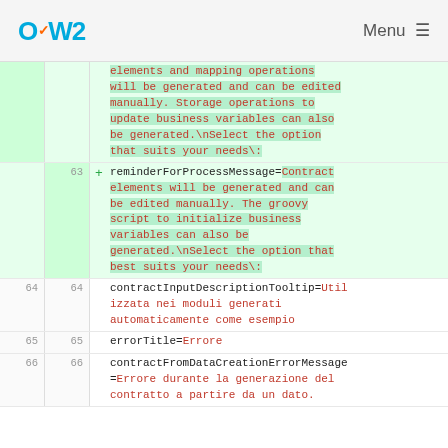OW2 | Menu
elements and mapping operations will be generated and can be edited manually. Storage operations to update business variables can also be generated.\nSelect the option that suits your needs\:
63 + reminderForProcessMessage=Contract elements will be generated and can be edited manually. The groovy script to initialize business variables can also be generated.\nSelect the option that best suits your needs\:
64 64 contractInputDescriptionTooltip=Utilizzata nei moduli generati automaticamente come esempio
65 65 errorTitle=Errore
66 66 contractFromDataCreationErrorMessage=Errore durante la generazione del contratto a partire da un dato.